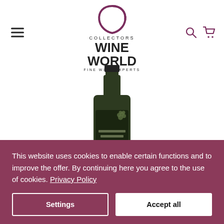[Figure (logo): Collectors Wine World Fine Wine Experts logo with purple teardrop/leaf shape above text]
[Figure (photo): Dark green wine bottle with label reading Tement Morillon Muschelkalk]
Tement Morillon Muschelkalk 2018
15,50€
This website uses cookies to enable certain functions and to improve the offer. By continuing here you agree to the use of cookies. Privacy Policy
Settings
Accept all